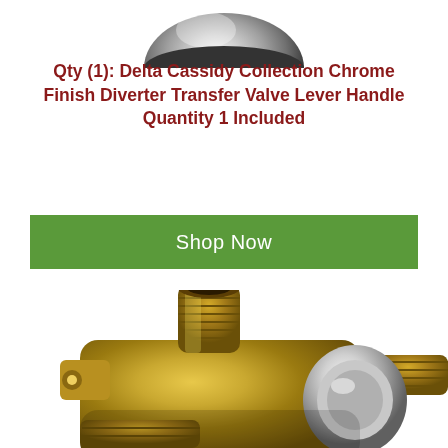[Figure (photo): Top portion of a chrome finish diverter valve handle, partially cropped at top of page]
Qty (1): Delta Cassidy Collection Chrome Finish Diverter Transfer Valve Lever Handle Quantity 1 Included
[Figure (other): Green 'Shop Now' button]
[Figure (photo): Close-up photo of a brass diverter transfer valve body with chrome accent ring, showing threaded pipe fittings and mounting brackets]